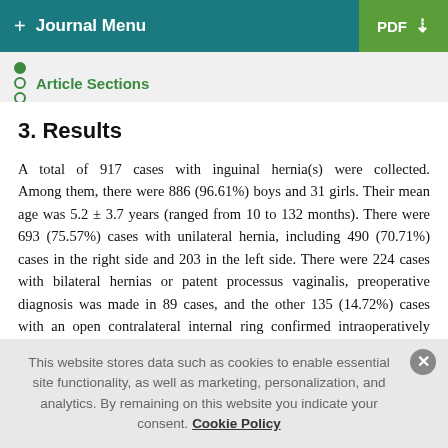+ Journal Menu | PDF ↓
Article Sections
3. Results
A total of 917 cases with inguinal hernia(s) were collected. Among them, there were 886 (96.61%) boys and 31 girls. Their mean age was 5.2 ± 3.7 years (ranged from 10 to 132 months). There were 693 (75.57%) cases with unilateral hernia, including 490 (70.71%) cases in the right side and 203 in the left side. There were 224 cases with bilateral hernias or patent processus vaginalis, preoperative diagnosis was made in 89 cases, and the other 135 (14.72%) cases with an open contralateral internal ring confirmed intraoperatively were made the diagnosis. All cases
This website stores data such as cookies to enable essential site functionality, as well as marketing, personalization, and analytics. By remaining on this website you indicate your consent. Cookie Policy